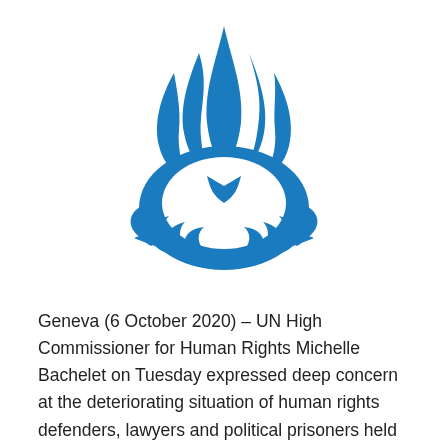[Figure (logo): UN Human Rights logo — blue flame/torch emblem with olive branches forming an oval, OHCHR official logo]
Geneva (6 October 2020) – UN High Commissioner for Human Rights Michelle Bachelet on Tuesday expressed deep concern at the deteriorating situation of human rights defenders, lawyers and political prisoners held in Iran's prisons and called on the authorities to release them in the context of the